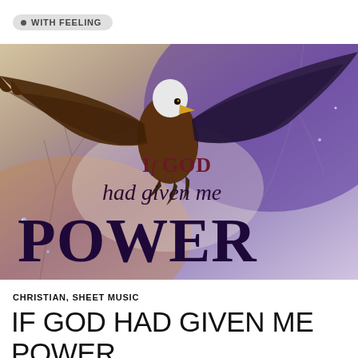• WITH FEELING
[Figure (illustration): A bald eagle with wings spread wide descending, set against a dramatic purple and beige textured background with bare tree branches. Overlaid text reads 'If God had given me POWER' in a mix of serif italic script and bold serif display type in dark maroon and dark purple colors.]
CHRISTIAN, SHEET MUSIC
IF GOD HAD GIVEN ME POWER